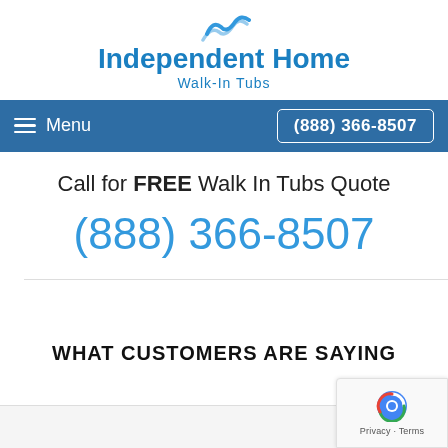[Figure (logo): Independent Home Walk-In Tubs logo with wave/water icon and blue text]
≡ Menu   (888) 366-8507
Call for FREE Walk In Tubs Quote
(888) 366-8507
WHAT CUSTOMERS ARE SAYING